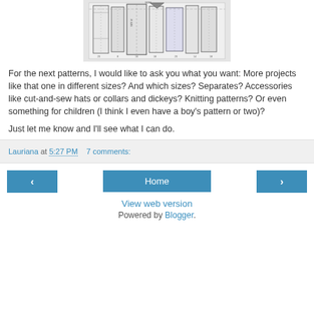[Figure (photo): Black and white sewing pattern pieces laid out, showing multiple pattern sections with measurement markings and fold lines]
For the next patterns, I would like to ask you what you want: More projects like that one in different sizes? And which sizes? Separates? Accessories like cut-and-sew hats or collars and dickeys? Knitting patterns? Or even something for children (I think I even have a boy’s pattern or two)?
Just let me know and I’ll see what I can do.
Lauriana at 5:27 PM   7 comments:
‹  Home  ›
View web version
Powered by Blogger.